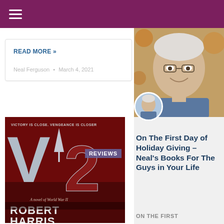Navigation bar with hamburger menu
READ MORE »
Neal Ferguson  •  March 4, 2021
[Figure (photo): Book cover for V2 by Robert Harris — red background with large stylized letters V2 and a rocket, tagline 'VICTORY IS CLOSE. VENGEANCE IS CLOSER', subtitle 'A novel of World War II']
REVIEWS
[Figure (photo): Large photo of Neal Ferguson, older white-haired man smiling, wearing glasses and blue shirt, with autumn foliage background]
[Figure (photo): Small circular avatar photo of Neal Ferguson]
On The First Day of Holiday Giving – Neal's Books For The Guys in Your Life
ON THE FIRST